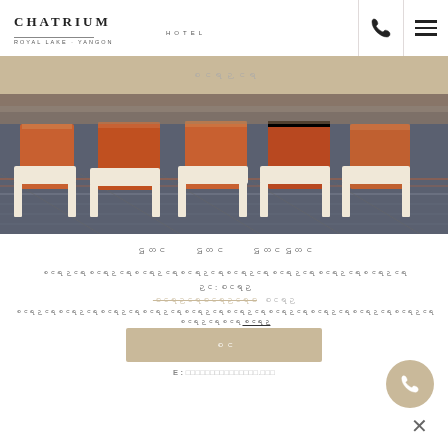Chatrium Hotel Royal Lake Yangon - header with phone and menu icons
မြန်မာ (Myanmar text banner)
[Figure (photo): Row of orange upholstered chairs along a table in a hotel conference/banquet room, viewed from behind, with patterned carpet floor]
Myanmar script navigation links (3 items)
Myanmar script description paragraph
Myanmar script label : Myanmar script value
Myanmar script price row with strikethrough and remaining text
Myanmar script fine print paragraph with underlined link
Myanmar script button label
E : email address (greyed out)